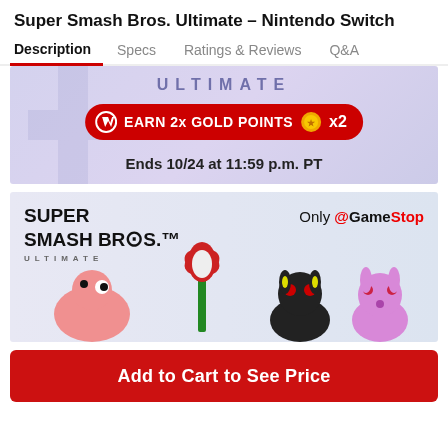Super Smash Bros. Ultimate – Nintendo Switch
Description | Specs | Ratings & Reviews | Q&A
[Figure (screenshot): Promotional banner for Super Smash Bros. Ultimate showing 'EARN 2x GOLD POINTS' in red with a gold coin icon and x2, and text 'Ends 10/24 at 11:59 p.m. PT' on a purple/blue gradient background]
[Figure (screenshot): GameStop exclusive banner showing Super Smash Bros. Ultimate logo with amiibo figures (Yoshi, Piranha Plant, Umbreon, Espeon) and 'Only @ GameStop' text]
Add to Cart to See Price